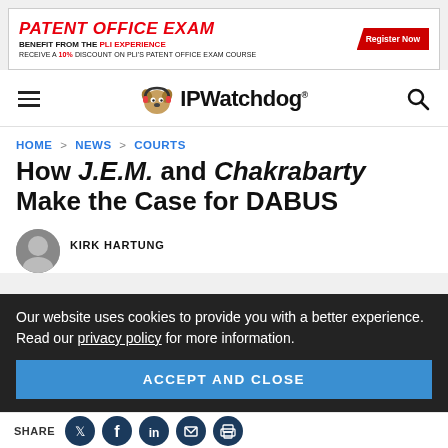[Figure (infographic): Patent Office Exam advertisement banner: red bold italic text 'PATENT OFFICE EXAM', subtext 'BENEFIT FROM THE PLI EXPERIENCE', 'RECEIVE A 10% DISCOUNT ON PLI'S PATENT OFFICE EXAM COURSE', red 'Register Now' button]
[Figure (logo): IPWatchdog logo with cartoon dog mascot wearing headphones, text 'IPWatchdog' in bold black]
HOME > NEWS > COURTS
How J.E.M. and Chakrabarty Make the Case for DABUS
KIRK HARTUNG
Our website uses cookies to provide you with a better experience. Read our privacy policy for more information.
ACCEPT AND CLOSE
SHARE